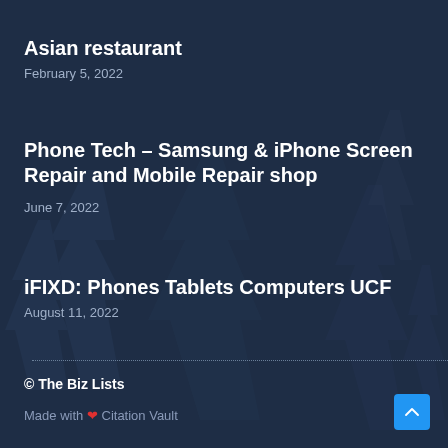Asian restaurant
February 5, 2022
Phone Tech – Samsung & iPhone Screen Repair and Mobile Repair shop
June 7, 2022
iFIXD: Phones Tablets Computers UCF
August 11, 2022
© The Biz Lists
Made with ❤ Citation Vault